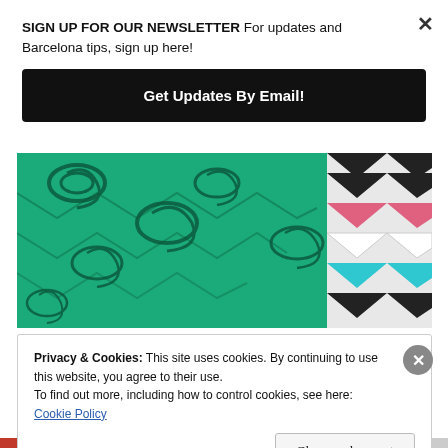SIGN UP FOR OUR NEWSLETTER For updates and Barcelona tips, sign up here!
Get Updates By Email!
[Figure (photo): Close-up photo of colorful patterned fabrics: a green fabric with dark floral/paisley pattern on the left, and a black/white/pink/blue chevron zigzag patterned fabric on the right]
Privacy & Cookies: This site uses cookies. By continuing to use this website, you agree to their use.
To find out more, including how to control cookies, see here:
Cookie Policy
Close and accept